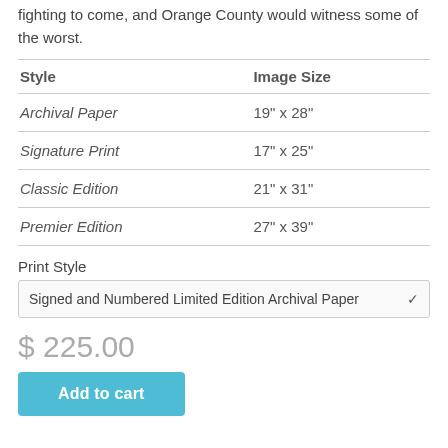fighting to come, and Orange County would witness some of the worst.
| Style | Image Size |
| --- | --- |
| Archival Paper | 19" x 28" |
| Signature Print | 17" x 25" |
| Classic Edition | 21" x 31" |
| Premier Edition | 27" x 39" |
Print Style
Signed and Numbered Limited Edition Archival Paper
$ 225.00
Add to cart